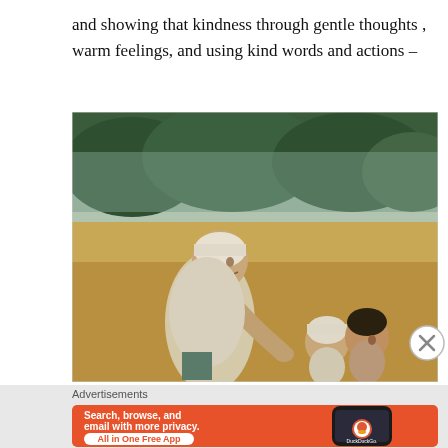and showing that kindness through gentle thoughts , warm feelings, and using kind words and actions –
[Figure (illustration): Painting of an elderly person wearing a white cap and light shirt, bending down towards two children — one wearing a white cap and one with dark hair — set against a background of golden/brown ground and green trees.]
Advertisements
[Figure (screenshot): DuckDuckGo advertisement banner: orange background with white bold text 'Search, browse, and email with more privacy.' and a white pill button 'All in One Free App', with an image of a smartphone showing the DuckDuckGo app and logo on the right.]